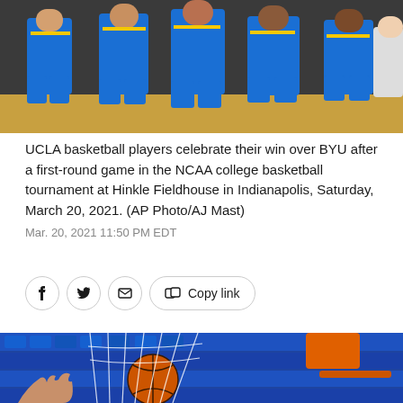[Figure (photo): UCLA basketball players in blue and gold uniforms celebrating, viewed from waist down with basketball court floor visible]
UCLA basketball players celebrate their win over BYU after a first-round game in the NCAA college basketball tournament at Hinkle Fieldhouse in Indianapolis, Saturday, March 20, 2021. (AP Photo/AJ Mast)
Mar. 20, 2021 11:50 PM EDT
[Figure (photo): Basketball being shot upward through a white net/hoop, with orange ball and blue arena seats visible in the background]